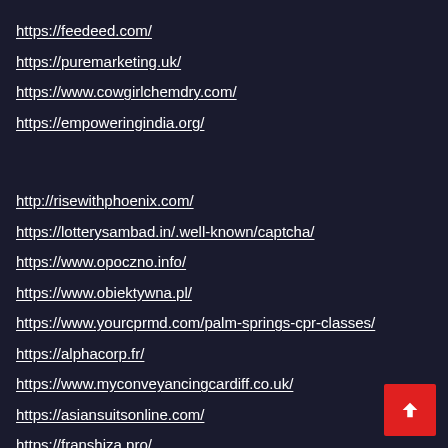https://feedeed.com/
https://puremarketing.uk/
https://www.cowgirlchemdry.com/
https://empoweringindia.org/
http://risewithphoenix.com/
https://lotterysambad.in/.well-known/captcha/
https://www.opoczno.info/
https://www.obiektywna.pl/
https://www.yourcprmd.com/palm-springs-cpr-classes/
https://alphacorp.fr/
https://www.myconveyancingcardiff.co.uk/
https://asiansuitsonline.com/
https://franshiza.pro/